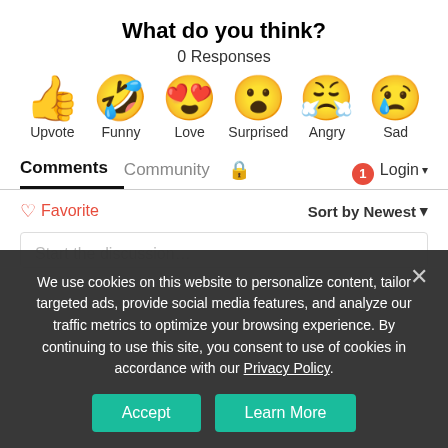What do you think?
0 Responses
[Figure (infographic): Six emoji reaction buttons: Upvote (thumbs up), Funny (laughing face with tongue), Love (heart eyes), Surprised (open mouth), Angry (crying/angry face), Sad (sad face with tear)]
Comments  Community  🔒  [1]  Login
♡ Favorite    Sort by Newest ▾
Start the discussion…
We use cookies on this website to personalize content, tailor targeted ads, provide social media features, and analyze our traffic metrics to optimize your browsing experience. By continuing to use this site, you consent to use of cookies in accordance with our Privacy Policy.
Accept  Learn More